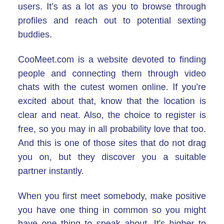users. It's as a lot as you to browse through profiles and reach out to potential sexting buddies.
CooMeet.com is a website devoted to finding people and connecting them through video chats with the cutest women online. If you're excited about that, know that the location is clear and neat. Also, the choice to register is free, so you may in all probability love that too. And this is one of those sites that do not drag you on, but they discover you a suitable partner instantly.
When you first meet somebody, make positive you have one thing in common so you might have one thing to speak about. It's higher to hold back on the 'heavy hitting' questions until you get to know the person higher. Keep asking them questions to allow them to ask you questions in return. The adult sex sites have a means of exhibiting you other members who you could be thinking about. For instance, eHarmony will present you people who discover...